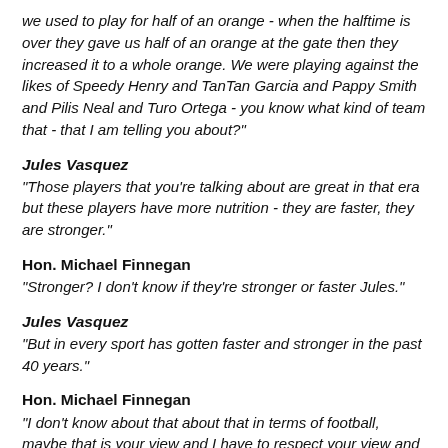we used to play for half of an orange - when the halftime is over they gave us half of an orange at the gate then they increased it to a whole orange. We were playing against the likes of Speedy Henry and TanTan Garcia and Pappy Smith and Pilis Neal and Turo Ortega - you know what kind of team that - that I am telling you about?"
Jules Vasquez
"Those players that you're talking about are great in that era but these players have more nutrition - they are faster, they are stronger."
Hon. Michael Finnegan
"Stronger? I don't know if they're stronger or faster Jules."
Jules Vasquez
"But in every sport has gotten faster and stronger in the past 40 years."
Hon. Michael Finnegan
"I don't know about that about that in terms of football, maybe that is your view and I have to respect your view and maybe you are right."
Jules Vasquez